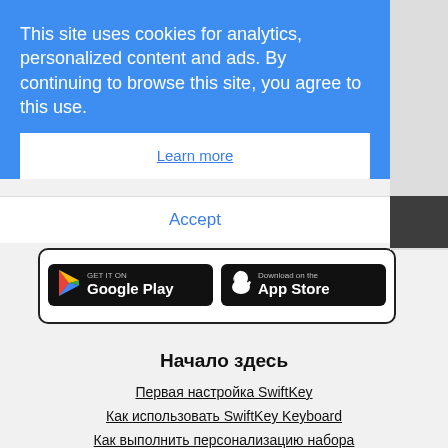This site uses cookies for analytics, personalized content and ads. By continuing to browse this site, you agree to this use.
Learn more
Accept
[Figure (other): Google Play and App Store download badges inside a rounded-border box]
Начало здесь
Первая настройка SwiftKey
Как использовать SwiftKey Keyboard
Как выполнить персонализацию набора
Как работают подсказки?